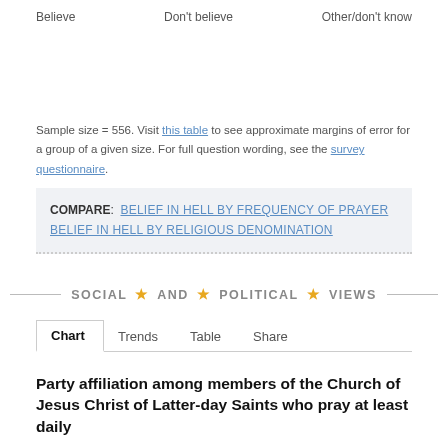Believe    Don't believe    Other/don't know
Sample size = 556. Visit this table to see approximate margins of error for a group of a given size. For full question wording, see the survey questionnaire.
COMPARE: BELIEF IN HELL BY FREQUENCY OF PRAYER  BELIEF IN HELL BY RELIGIOUS DENOMINATION
SOCIAL ★ AND ★ POLITICAL ★ VIEWS
Chart  Trends  Table  Share
Party affiliation among members of the Church of Jesus Christ of Latter-day Saints who pray at least daily